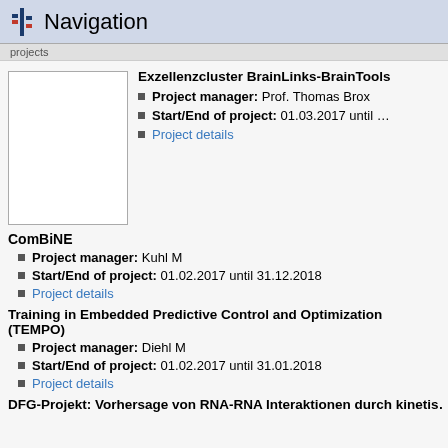Navigation
Exzellenzcluster BrainLinks-BrainTools
Project manager: Prof. Thomas Brox
Start/End of project: 01.03.2017 until …
Project details
[Figure (photo): Placeholder image box (white rectangle with border)]
ComBiNE
Project manager: Kuhl M
Start/End of project: 01.02.2017 until 31.12.2018
Project details
Training in Embedded Predictive Control and Optimization (TEMPO)
Project manager: Diehl M
Start/End of project: 01.02.2017 until 31.01.2018
Project details
DFG-Projekt: Vorhersage von RNA-RNA Interaktionen durch kinetis…